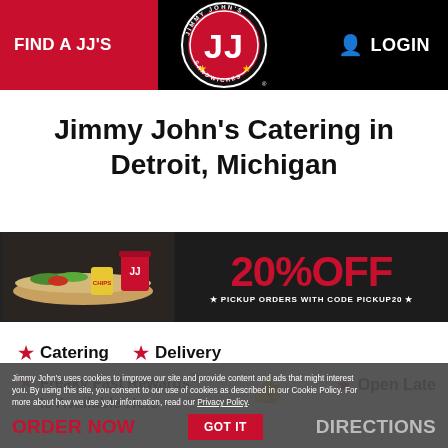FIND A JJ'S | Jimmy John's Logo | LOGIN
Jimmy John's Catering in Detroit, Michigan
[Figure (infographic): Promotional banner: food images on left, large red text '20% OFF' with subtext '* PICKUP ORDERS WITH CODE PICKUP20 *' on dark background]
★ Catering  ★ Delivery
★ Freaky Fast Rewards® Is Available Here
★ Open Late
Jimmy John's uses cookies to improve our site and provide content and ads that might interest you. By using this site, you consent to our use of cookies as described in our Cookie Policy. For more about how we use your information, read our Privacy Policy.
ORDER NOW
GOT IT
DIRECTIONS